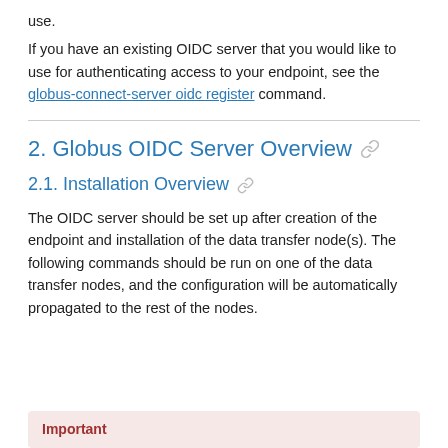use.
If you have an existing OIDC server that you would like to use for authenticating access to your endpoint, see the globus-connect-server oidc register command.
2. Globus OIDC Server Overview
2.1. Installation Overview
The OIDC server should be set up after creation of the endpoint and installation of the data transfer node(s). The following commands should be run on one of the data transfer nodes, and the configuration will be automatically propagated to the rest of the nodes.
Important